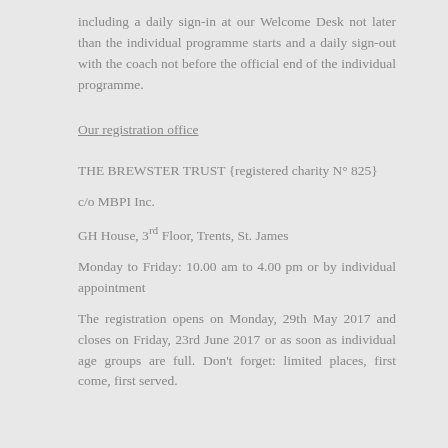including a daily sign-in at our Welcome Desk not later than the individual programme starts and a daily sign-out with the coach not before the official end of the individual programme.
Our registration office
THE BREWSTER TRUST {registered charity N° 825}
c/o MBPI Inc.
GH House, 3rd Floor, Trents, St. James
Monday to Friday: 10.00 am to 4.00 pm or by individual appointment
The registration opens on Monday, 29th May 2017 and closes on Friday, 23rd June 2017 or as soon as individual age groups are full. Don't forget: limited places, first come, first served.